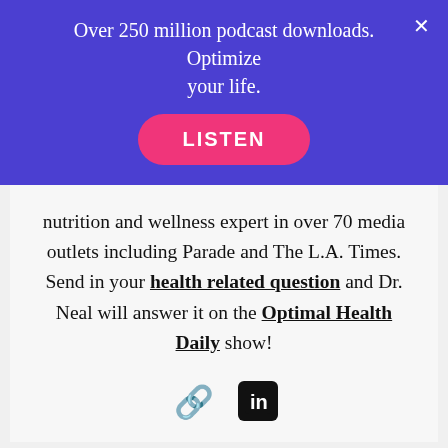Over 250 million podcast downloads. Optimize your life.
[Figure (other): Pink rounded LISTEN button on purple banner]
nutrition and wellness expert in over 70 media outlets including Parade and The L.A. Times. Send in your health related question and Dr. Neal will answer it on the Optimal Health Daily show!
[Figure (other): Link icon and LinkedIn icon]